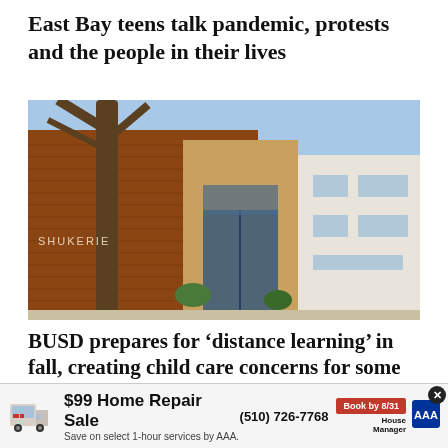East Bay teens talk pandemic, protests and the people in their lives
[Figure (photo): Exterior photo of a school building with red brick facade, a large bare tree on the left, and a modern white building section on the right with glass entrance doors. The word 'SHUKERIE' is partially visible on the brick wall.]
BUSD prepares for ‘distance learning’ in fall, creating child care concerns for some families
[Figure (infographic): Advertisement banner: $99 Home Repair Sale. Save on select 1-hour services by AAA. Phone: (510) 726-7768. Book by 8/31. House Manager AAA logo. Van image on the left.]